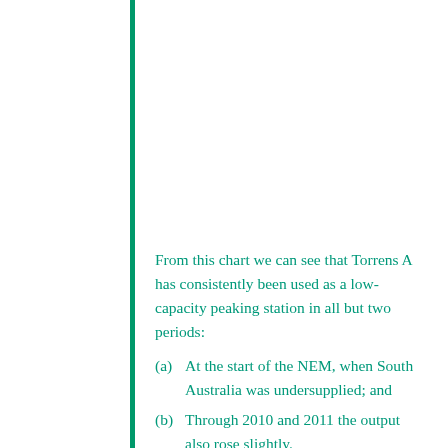From this chart we can see that Torrens A has consistently been used as a low-capacity peaking station in all but two periods:
(a)  At the start of the NEM, when South Australia was undersupplied; and
(b)  Through 2010 and 2011 the output also rose slightly.
With a total station capacity of 480MW (as shown in the "Power Supply